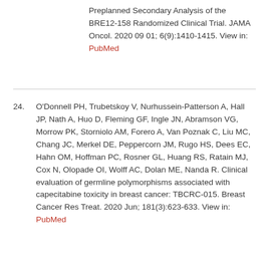Preplanned Secondary Analysis of the BRE12-158 Randomized Clinical Trial. JAMA Oncol. 2020 09 01; 6(9):1410-1415. View in: PubMed
24. O'Donnell PH, Trubetskoy V, Nurhussein-Patterson A, Hall JP, Nath A, Huo D, Fleming GF, Ingle JN, Abramson VG, Morrow PK, Storniolo AM, Forero A, Van Poznak C, Liu MC, Chang JC, Merkel DE, Peppercorn JM, Rugo HS, Dees EC, Hahn OM, Hoffman PC, Rosner GL, Huang RS, Ratain MJ, Cox N, Olopade OI, Wolff AC, Dolan ME, Nanda R. Clinical evaluation of germline polymorphisms associated with capecitabine toxicity in breast cancer: TBCRC-015. Breast Cancer Res Treat. 2020 Jun; 181(3):623-633. View in: PubMed